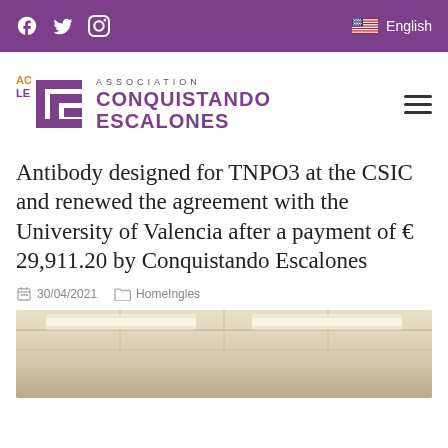Social media icons (Facebook, Twitter, Instagram) | English language selector
[Figure (logo): ACLE Association Conquistando Escalones logo with purple staircase icon and text]
Antibody designed for TNPO3 at the CSIC and renewed the agreement with the University of Valencia after a payment of € 29,911.20 by Conquistando Escalones
30/04/2021   HomeIngles